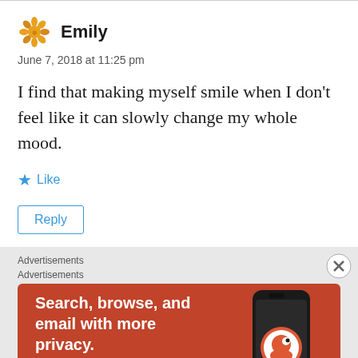Emily
June 7, 2018 at 11:25 pm
I find that making myself smile when I don't feel like it can slowly change my whole mood.
Like
Reply
Advertisements
[Figure (screenshot): DuckDuckGo advertisement banner with orange background showing 'Search, browse, and email with more privacy. All in One Free App' with a phone image and DuckDuckGo logo.]